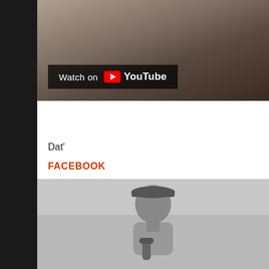[Figure (screenshot): YouTube video thumbnail showing two people, with 'Watch on YouTube' overlay button at bottom left]
Dat'
FACEBOOK
TWITTER
[Figure (photo): Black and white photo of a person wearing a cap, singing or speaking into a microphone]